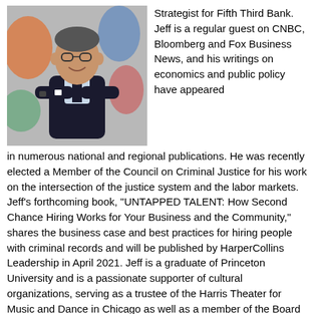[Figure (photo): Professional headshot of a middle-aged man in a dark suit with arms crossed, smiling, with a colorful mural in the background.]
Strategist for Fifth Third Bank. Jeff is a regular guest on CNBC, Bloomberg and Fox Business News, and his writings on economics and public policy have appeared in numerous national and regional publications. He was recently elected a Member of the Council on Criminal Justice for his work on the intersection of the justice system and the labor markets. Jeff’s forthcoming book, “UNTAPPED TALENT: How Second Chance Hiring Works for Your Business and the Community,” shares the business case and best practices for hiring people with criminal records and will be published by HarperCollins Leadership in April 2021. Jeff is a graduate of Princeton University and is a passionate supporter of cultural organizations, serving as a trustee of the Harris Theater for Music and Dance in Chicago as well as a member of the Board of Advisors of the Peabody Essex Museum in Salem, Massachusetts.
Jeri Wamser is Executive Director/Founder of Tap…